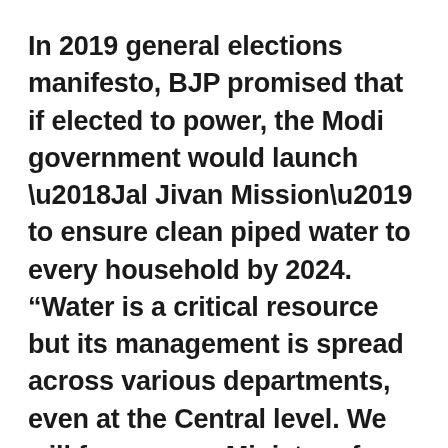In 2019 general elections manifesto, BJP promised that if elected to power, the Modi government would launch ‘Jal Jivan Mission’ to ensure clean piped water to every household by 2024. “Water is a critical resource but its management is spread across various departments, even at the Central level. We will form a new Ministry of Water unifying the water management functions to approach the issue of water management holistically and ensure better coordination of efforts,” read the BJP’s vision document.